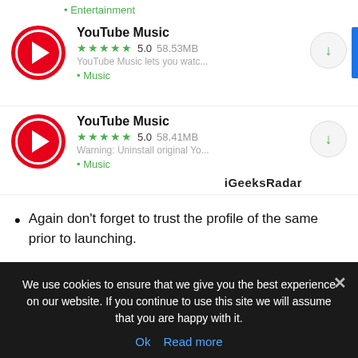• Entertainment
[Figure (screenshot): YouTube Music app listing with red circular icon, 5-star rating 5.0, 58.53MB, 'YouTube Music lets you watc...' description, Music category, download button]
[Figure (screenshot): YouTube Music app listing with red circular icon, 5-star rating 5.0, 58.41MB, 'Warning: Uninstall original Yo...' description, Music category, download button, iGeeksRadar watermark]
Again don't forget to trust the profile of the same prior to launching.
Check out: TuTuApp Alternatives – Similar Apps Like
We use cookies to ensure that we give you the best experience on our website. If you continue to use this site we will assume that you are happy with it.
Ok  Read more